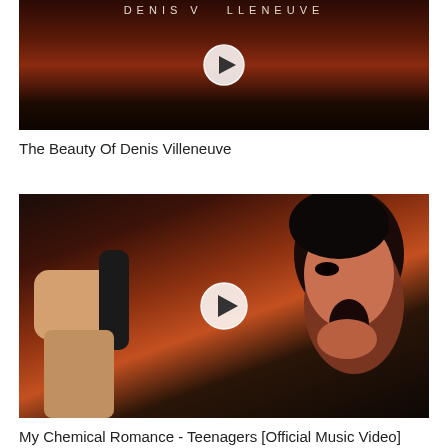[Figure (screenshot): Video thumbnail showing Denis Villeneuve cinematic title text over dark desert/dune landscape with orange-red sky and a play button overlay]
The Beauty Of Denis Villeneuve
[Figure (screenshot): Video thumbnail showing My Chemical Romance - Teenagers music video with a performer singing/screaming into a microphone, dark background with reddish tones, play button overlay]
My Chemical Romance - Teenagers [Official Music Video]